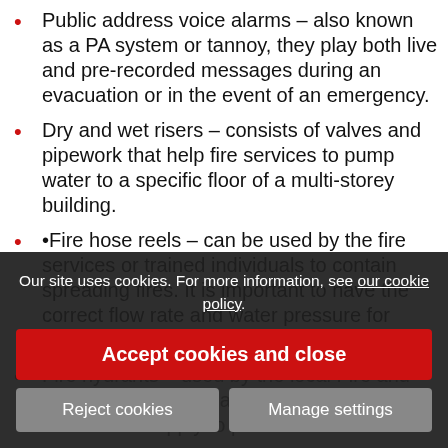Public address voice alarms – also known as a PA system or tannoy, they play both live and pre-recorded messages during an evacuation or in the event of an emergency.
Dry and wet risers – consists of valves and pipework that help fire services to pump water to a specific floor of a multi-storey building.
•Fire hose reels – can be used by the fire services or trained individuals to contain spreading fires. It is important to have the correct flow rate and water pressure for them to work to their full capability.
Fire hydrants – used by the local Fire and Rescue Services to access water from the main water supply to put out fires.
Just like fire protection systems need to be professionally trained engineer and have regular maintenance to ensure they work properly in case of an emergency. A poorly maintained fire
Our site uses cookies. For more information, see our cookie policy.
Accept cookies and close
Reject cookies
Manage settings